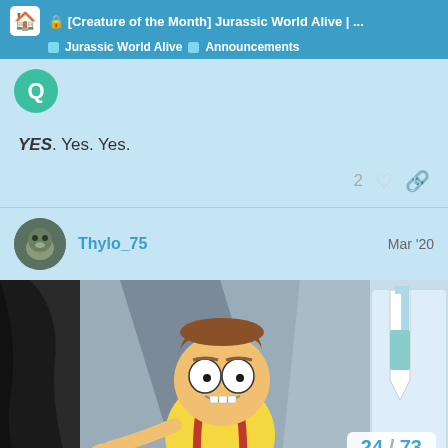🔒 [Creature of the Month] Jurassic World Alive | ...
Jurassic World Alive   Announcements
YES. Yes. Yes.
2
Thylo_75   Mar '20
[Figure (screenshot): Screenshot of a forum post showing a Rick and Morty style animated cartoon image — Morty character pointing with wide eyes, Rick character in lab coat partially visible on right. Page counter shows 24/73 in bottom right corner.]